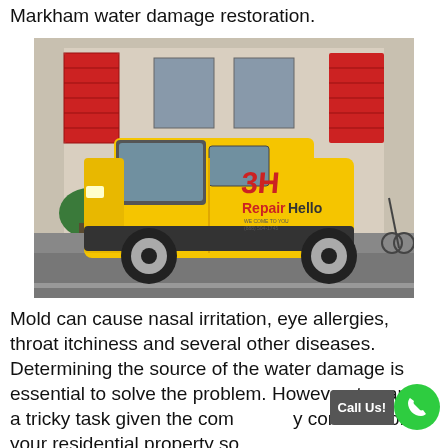Markham water damage restoration.
[Figure (photo): A yellow RepairHello branded service van parked on a street in front of a building with red shutters. The van has the RepairHello logo and phone number on the side.]
Mold can cause nasal irritation, eye allergies, throat itchiness and several other diseases. Determining the source of the water damage is essential to solve the problem. However, the can be a tricky task given the complexity of construction of your residential property so